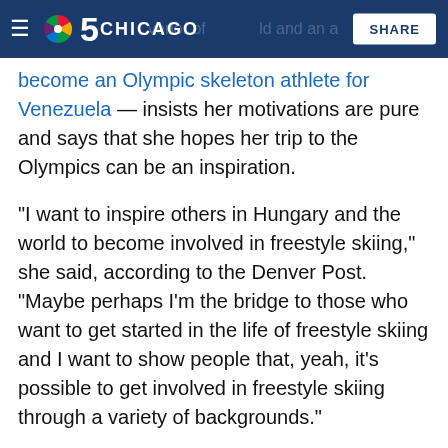NBC 5 Chicago — SHARE
become an Olympic skeleton athlete for Venezuela — insists her motivations are pure and says that she hopes her trip to the Olympics can be an inspiration.
"I want to inspire others in Hungary and the world to become involved in freestyle skiing," she said, according to the Denver Post. "Maybe perhaps I'm the bridge to those who want to get started in the life of freestyle skiing and I want to show people that, yeah, it's possible to get involved in freestyle skiing through a variety of backgrounds."
As for what the other athletes thought of her performance, it's hard to say. The Denver Post noted that no athletes were willing to go on the record for their story about Swaney, but Cassie Sharpe — the gold medal favorite in women's